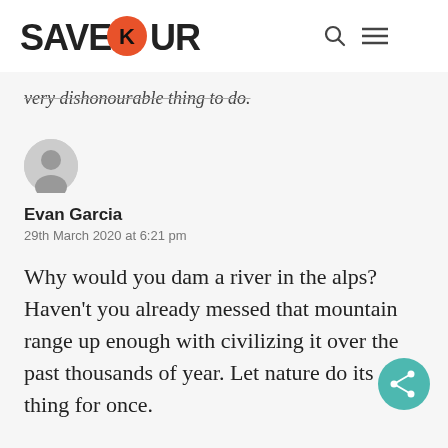Save Our Rivers
very dishonourable thing to do.
Evan Garcia
29th March 2020 at 6:21 pm
Why would you dam a river in the alps? Haven't you already messed that mountain range up enough with civilizing it over the past thousands of year. Let nature do its thing for once.